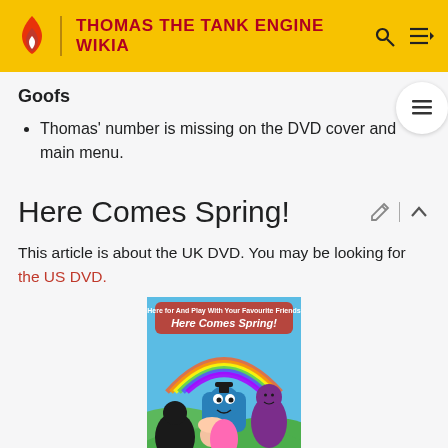THOMAS THE TANK ENGINE WIKIA
Goofs
Thomas' number is missing on the DVD cover and main menu.
Here Comes Spring!
This article is about the UK DVD. You may be looking for the US DVD.
[Figure (photo): DVD cover for 'Here Comes Spring!' showing Thomas the Tank Engine with Barney and other characters under a rainbow]